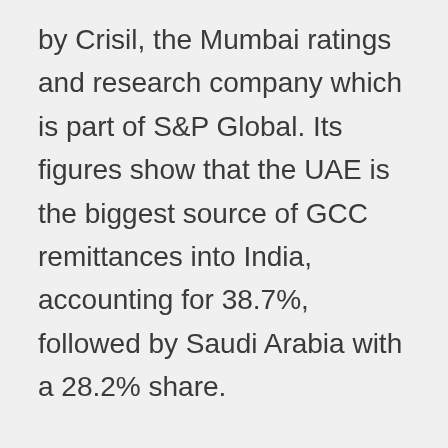by Crisil, the Mumbai ratings and research company which is part of S&P Global. Its figures show that the UAE is the biggest source of GCC remittances into India, accounting for 38.7%, followed by Saudi Arabia with a 28.2% share.
With a little more push Bitcoin use is getting bigger in India with several initiatives which weren't available in the past year.
Amazon is pushing to be one of India's e-